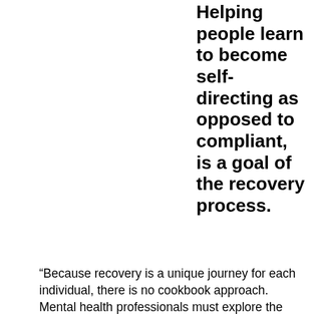Helping people learn to become self-directing as opposed to compliant, is a goal of the recovery process.
“Because recovery is a unique journey for each individual, there is no cookbook approach. Mental health professionals must explore the special gifts and